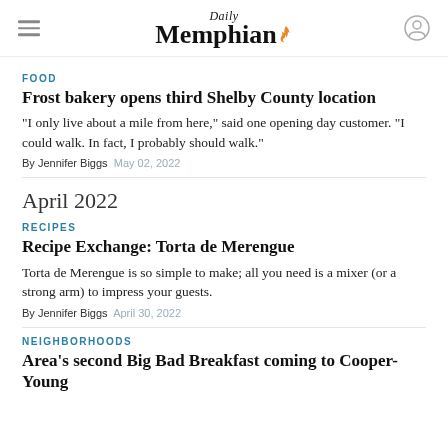Daily Memphian
FOOD
Frost bakery opens third Shelby County location
“I only live about a mile from here,” said one opening day customer. “I could walk. In fact, I probably should walk.”
By Jennifer Biggs   May 02, 2022
April 2022
RECIPES
Recipe Exchange: Torta de Merengue
Torta de Merengue is so simple to make; all you need is a mixer (or a strong arm) to impress your guests.
By Jennifer Biggs   April 30, 2022
NEIGHBORHOODS
Area’s second Big Bad Breakfast coming to Cooper-Young